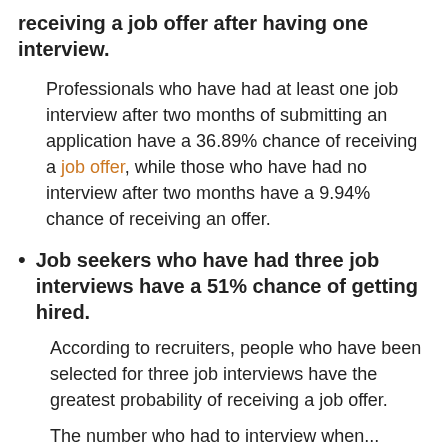receiving a job offer after having one interview.
Professionals who have had at least one job interview after two months of submitting an application have a 36.89% chance of receiving a job offer, while those who have had no interview after two months have a 9.94% chance of receiving an offer.
Job seekers who have had three job interviews have a 51% chance of getting hired.
According to recruiters, people who have been selected for three job interviews have the greatest probability of receiving a job offer.
The number who had to interview when...